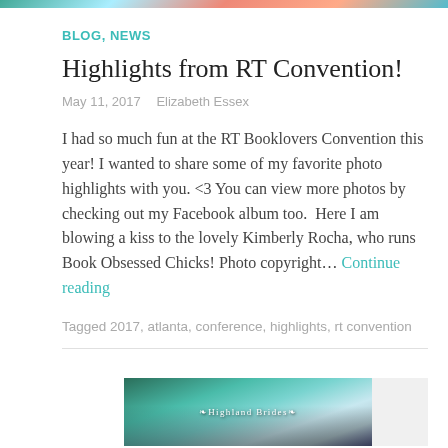[Figure (photo): Narrow horizontal image strip at the top of the page showing a colorful photo banner]
BLOG, NEWS
Highlights from RT Convention!
May 11, 2017   Elizabeth Essex
I had so much fun at the RT Booklovers Convention this year! I wanted to share some of my favorite photo highlights with you. <3 You can view more photos by checking out my Facebook album too.  Here I am blowing a kiss to the lovely Kimberly Rocha, who runs Book Obsessed Chicks! Photo copyright… Continue reading
Tagged 2017, atlanta, conference, highlights, rt convention
[Figure (photo): Book cover thumbnail showing Highland Brides, with a teal/green forest background and decorative text]